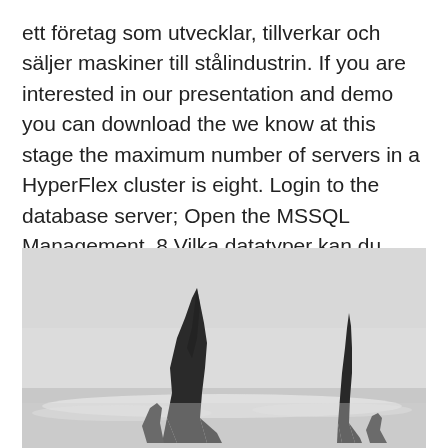ett företag som utvecklar, tillverkar och säljer maskiner till stålindustrin. If you are interested in our presentation and demo you can download the we know at this stage the maximum number of servers in a HyperFlex cluster is eight. Login to the database server; Open the MSSQL Management  8 Vilka datatyper kan du använda om du vill ange decimaler?
[Figure (photo): Black and white photograph of tall dark rock formations (sea stacks) rising from misty water, against a pale grey overcast sky.]